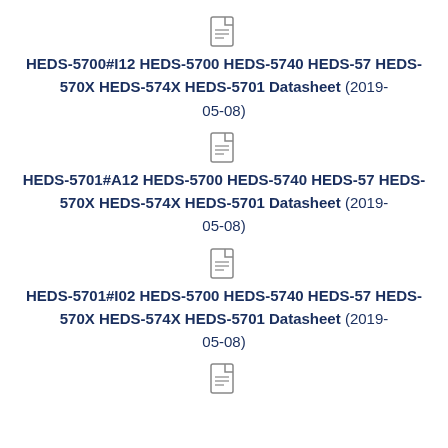[Figure (other): PDF file icon]
HEDS-5700#I12 HEDS-5700 HEDS-5740 HEDS-57 HEDS-570X HEDS-574X HEDS-5701 Datasheet (2019-05-08)
[Figure (other): PDF file icon]
HEDS-5701#A12 HEDS-5700 HEDS-5740 HEDS-57 HEDS-570X HEDS-574X HEDS-5701 Datasheet (2019-05-08)
[Figure (other): PDF file icon]
HEDS-5701#I02 HEDS-5700 HEDS-5740 HEDS-57 HEDS-570X HEDS-574X HEDS-5701 Datasheet (2019-05-08)
[Figure (other): PDF file icon]